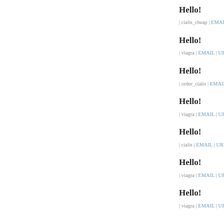Hello!
| cialis_cheap | EMAIL
Hello!
| viagra | EMAIL | UR
Hello!
| order_cialis | EMAIL
Hello!
| viagra | EMAIL | UR
Hello!
| cialis | EMAIL | URI
Hello!
| viagra | EMAIL | UR
Hello!
| viagra | EMAIL | UR